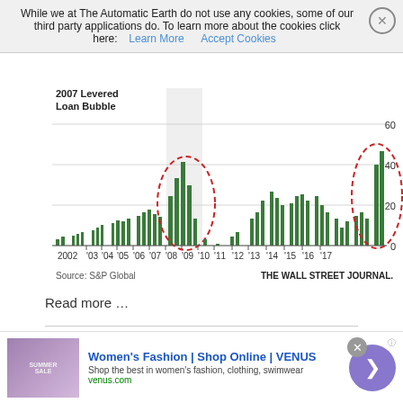While we at The Automatic Earth do not use any cookies, some of our third party applications do. To learn more about the cookies click here: Learn More  Accept Cookies
[Figure (continuous-plot): Bar chart showing leveraged loan volume from 2002 to 2017. Title '2007 Levered Loan Bubble' with red dashed circles highlighting 2007 peak and 2017 activity. Y-axis labeled 0, 20, 40 (and implied ~60 at top). Source: S&P Global. The Wall Street Journal.]
Read more …
"..you might have to ask the question if what comes next could possibly be worse than what's happening now."
[Figure (infographic): Advertisement banner: Women's Fashion | Shop Online | VENUS. Shop the best in women's fashion, clothing, swimwear. venus.com]